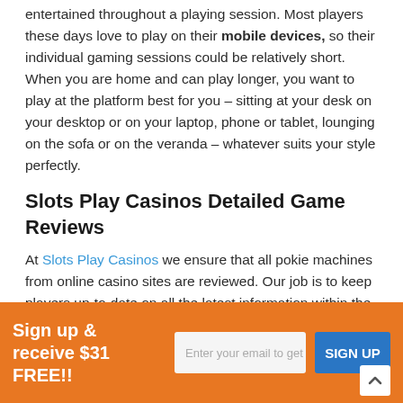entertained throughout a playing session. Most players these days love to play on their mobile devices, so their individual gaming sessions could be relatively short. When you are home and can play longer, you want to play at the platform best for you – sitting at your desk on your desktop or on your laptop, phone or tablet, lounging on the sofa or on the veranda – whatever suits your style perfectly.
Slots Play Casinos Detailed Game Reviews
At Slots Play Casinos we ensure that all pokie machines from online casino sites are reviewed. Our job is to keep players up-to-date on all the latest information within the gaming industry online and in general. Check back often to see our review of new games released every month.
Sign up & receive $31 FREE!!